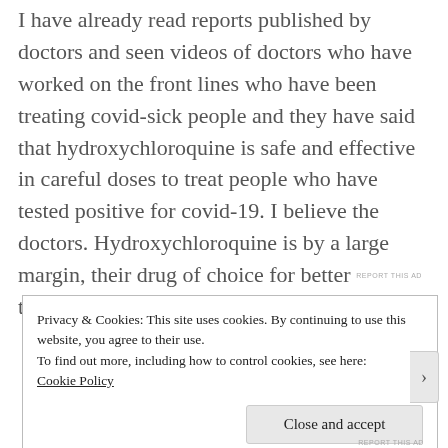I have already read reports published by doctors and seen videos of doctors who have worked on the front lines who have been treating covid-sick people and they have said that hydroxychloroquine is safe and effective in careful doses to treat people who have tested positive for covid-19. I believe the doctors. Hydroxychloroquine is by a large margin, their drug of choice for better treatment outcomes.
REPORT THIS AD
Privacy & Cookies: This site uses cookies. By continuing to use this website, you agree to their use.
To find out more, including how to control cookies, see here: Cookie Policy
Close and accept